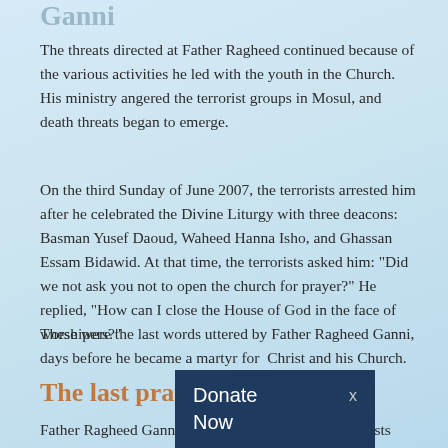Ganni (partial)
The threats directed at Father Ragheed continued because of the various activities he led with the youth in the Church. His ministry angered the terrorist groups in Mosul, and death threats began to emerge.
On the third Sunday of June 2007, the terrorists arrested him after he celebrated the Divine Liturgy with three deacons: Basman Yusef Daoud, Waheed Hanna Isho, and Ghassan Essam Bidawid. At that time, the terrorists asked him: "Did we not ask you not to open the church for prayer?" He replied, "How can I close the House of God in the face of worshipers?"
These were the last words uttered by Father Ragheed Ganni, days before he became a martyr for Christ and his Church.
The last prayer of Ganni
[Figure (screenshot): Donate Now popup overlay with dark navy background, white text reading 'Donate Now' and an 'x' close button]
Father Ragheed Ganni realized that the Islamic terrorists...